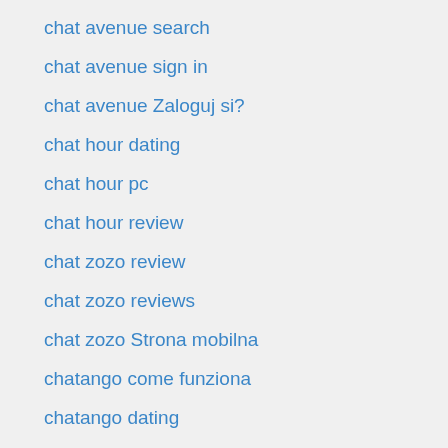chat avenue search
chat avenue sign in
chat avenue Zaloguj si?
chat hour dating
chat hour pc
chat hour review
chat zozo review
chat zozo reviews
chat zozo Strona mobilna
chatango come funziona
chatango dating
chatango entrar
Chatango username
chatango-overzicht Log in
chatib bewertung